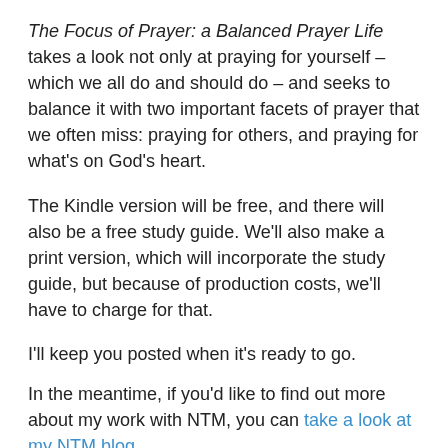The Focus of Prayer: a Balanced Prayer Life takes a look not only at praying for yourself – which we all do and should do – and seeks to balance it with two important facets of prayer that we often miss: praying for others, and praying for what's on God's heart.
The Kindle version will be free, and there will also be a free study guide. We'll also make a print version, which will incorporate the study guide, but because of production costs, we'll have to charge for that.
I'll keep you posted when it's ready to go.
In the meantime, if you'd like to find out more about my work with NTM, you can take a look at my NTM blog.
Share this: